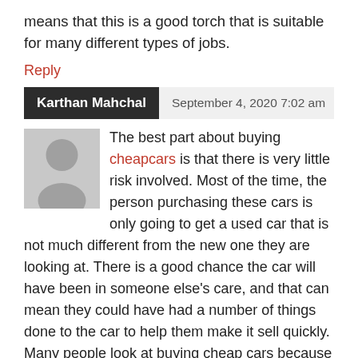means that this is a good torch that is suitable for many different types of jobs.
Reply
Karthan Mahchal   September 4, 2020 7:02 am
The best part about buying cheapcars is that there is very little risk involved. Most of the time, the person purchasing these cars is only going to get a used car that is not much different from the new one they are looking at. There is a good chance the car will have been in someone else's care, and that can mean they could have had a number of things done to the car to help them make it sell quickly. Many people look at buying cheap cars because of their low price and if they do end up getting a good deal then they will most likely be happy with the purchase for a long time to come.